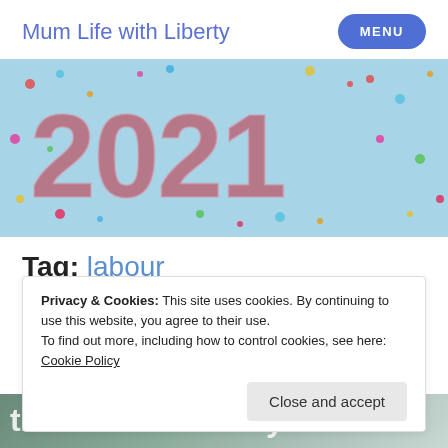Mum Life with Liberty
[Figure (photo): 2021 balloon numbers on a light blue background with colorful confetti scattered around]
Tag: labour
Privacy & Cookies: This site uses cookies. By continuing to use this website, you agree to their use.
To find out more, including how to control cookies, see here: Cookie Policy
Close and accept
[Figure (photo): Partial photo at bottom showing text 'the aftermath... My']